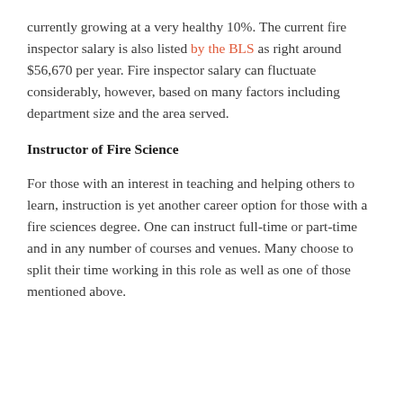currently growing at a very healthy 10%. The current fire inspector salary is also listed by the BLS as right around $56,670 per year. Fire inspector salary can fluctuate considerably, however, based on many factors including department size and the area served.
Instructor of Fire Science
For those with an interest in teaching and helping others to learn, instruction is yet another career option for those with a fire sciences degree. One can instruct full-time or part-time and in any number of courses and venues. Many choose to split their time working in this role as well as one of those mentioned above.